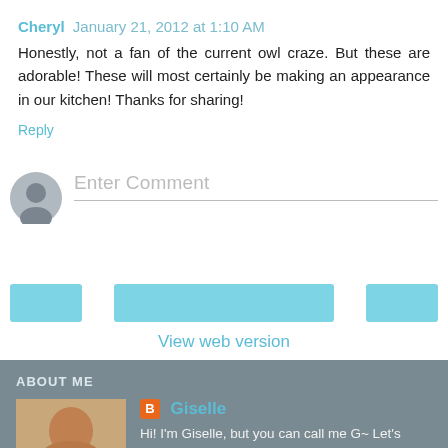Cheryl  January 21, 2012 at 1:10 AM
Honestly, not a fan of the current owl craze. But these are adorable! These will most certainly be making an appearance in our kitchen! Thanks for sharing!
Reply
Enter Comment
View web version
ABOUT ME
Giselle
Hi! I'm Giselle, but you can call me G~ Let's decorate some cookies!